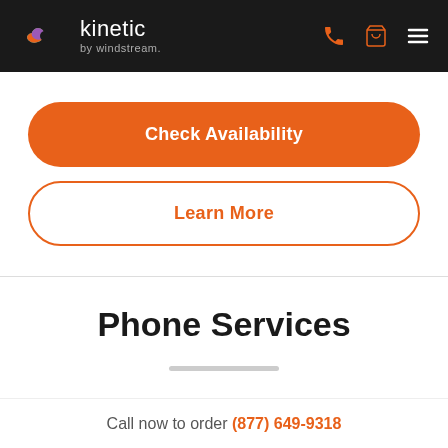[Figure (logo): Kinetic by Windstream logo with colorful swirl icon on dark header bar with phone, cart, and menu icons]
Check Availability
Learn More
Phone Services
Call now to order (877) 649-9318